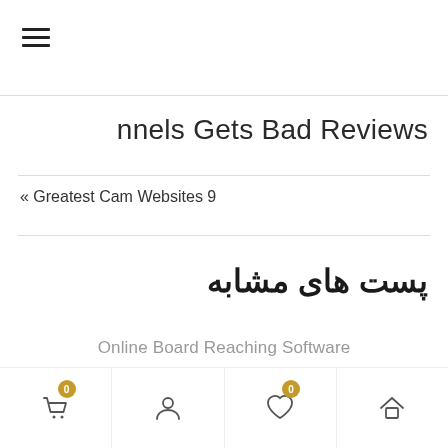[Figure (other): Hamburger menu icon (three horizontal lines)]
nnels Gets Bad Reviews
« Greatest Cam Websites 9
پست های مشابه
Online Board Reaching Software
Bottom navigation bar with cart (0), user, wishlist (0), and home icons